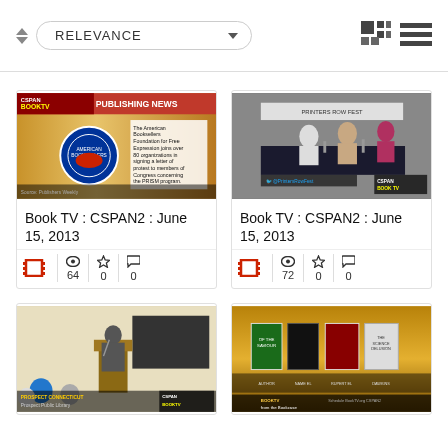[Figure (screenshot): Sort toolbar with RELEVANCE dropdown and grid/list view icons]
[Figure (screenshot): Book TV CSPAN2 Publishing News thumbnail showing ABFFE letter protest about PRISM program]
Book TV : CSPAN2 : June 15, 2013
[Figure (screenshot): Book TV CSPAN2 panel discussion at Printers Row Fest]
Book TV : CSPAN2 : June 15, 2013
[Figure (screenshot): Book TV CSPAN2 Prospect Connecticut library event thumbnail]
[Figure (screenshot): Book TV CSPAN2 from the bookcase thumbnail showing multiple book covers]